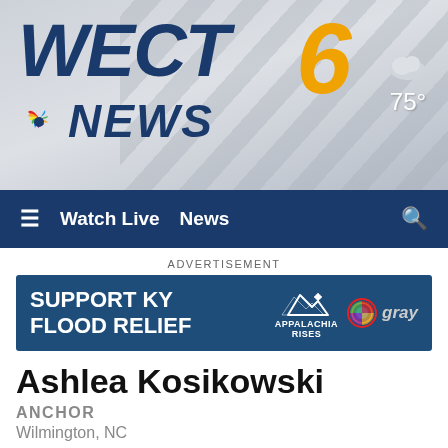[Figure (logo): WECT 6 News logo with NBC peacock on grey gradient background with diagonal stripe decoration]
75°
≡  Watch Live   News   🔍
ADVERTISEMENT
[Figure (infographic): Support KY Flood Relief banner ad with Appalachia Rises and Gray Television logos]
Ashlea Kosikowski
ANCHOR
Wilmington, NC
✉ 🐦 f ▶ 📷 in
[Figure (photo): Ashlea Kosikowski portrait photo placeholder]
While reporting at WECT,